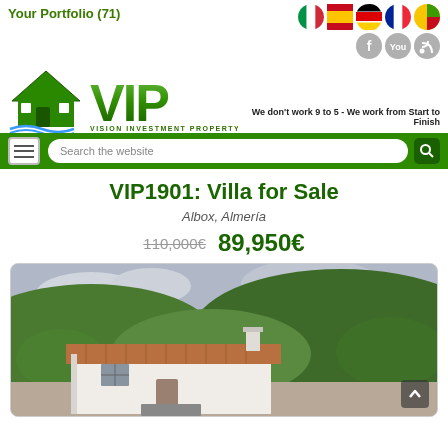Your Portfolio (71)
[Figure (logo): VIP – Vision Investment Property España logo with green house and large VIP text]
We don't work 9 to 5 - We work from Start to Finish
VIP1901: Villa for Sale
Albox, Almería
110,000€  89,950€
[Figure (photo): Exterior photo of a white Spanish villa with terracotta roof tiles set against a green hillside and cloudy sky]